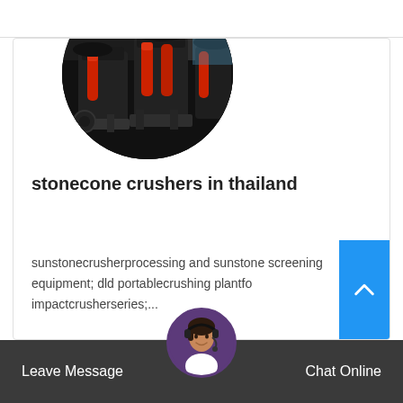[Figure (photo): Circular cropped photo of industrial stone cone crushers - large black heavy machinery with red hydraulic cylinders, in a factory/warehouse setting]
stonecone crushers in thailand
sunstonecrusherprocessing and sunstone screening equipment; dld portablecrushing plantfo impactcrusherseries;...
[Figure (photo): Customer service avatar - woman wearing headset, circular photo in purple/dark frame]
Leave Message   Chat Online